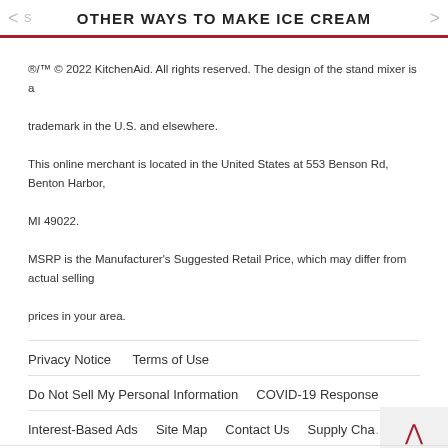OTHER WAYS TO MAKE ICE CREAM
®/™ © 2022 KitchenAid. All rights reserved. The design of the stand mixer is a trademark in the U.S. and elsewhere.

This online merchant is located in the United States at 553 Benson Rd, Benton Harbor, MI 49022.

MSRP is the Manufacturer's Suggested Retail Price, which may differ from actual selling prices in your area.
Privacy Notice    Terms of Use
Do Not Sell My Personal Information    COVID-19 Response
Interest-Based Ads    Site Map    Contact Us    Supply Cha...